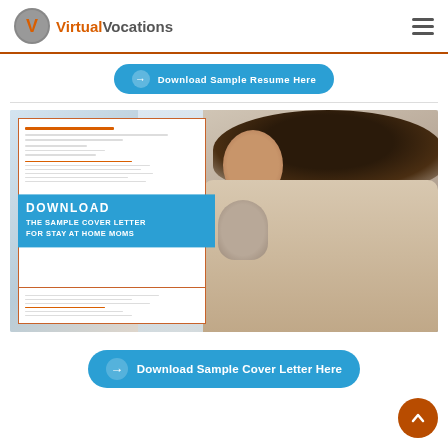Virtual Vocations
[Figure (screenshot): Partially visible blue pill button with arrow icon and text 'Download Sample Resume Here']
[Figure (photo): Composite image showing a smiling woman holding a baby, with a document overlay on the left and a blue box reading 'DOWNLOAD THE SAMPLE COVER LETTER FOR STAY AT HOME MOMS']
[Figure (other): Blue pill-shaped button with arrow icon reading 'Download Sample Cover Letter Here']
[Figure (other): Orange circular scroll-to-top button with upward arrow]